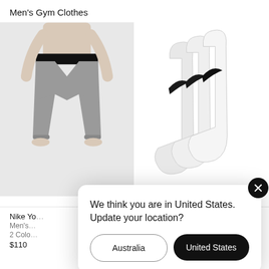Men's Gym Clothes
[Figure (photo): Man wearing gray Nike yoga 3/4 pants with black waistband, standing barefoot on white background]
[Figure (photo): Three white Nike crew socks with black Swoosh logos displayed on white background]
Nike Yo
Men's
2 Colo
$110
We think you are in United States. Update your location?
Australia
United States